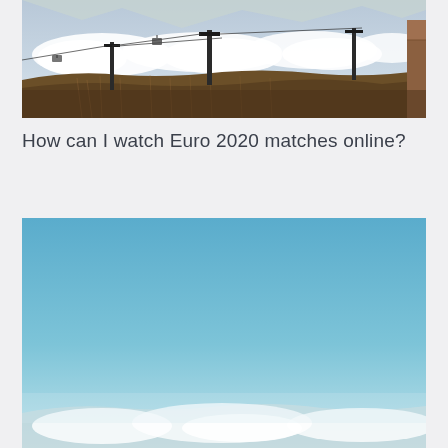[Figure (photo): Outdoor mountain landscape with ski lift pylons, cables, and gondolas visible above clouds. Brown grass hillside in foreground, snow-capped peaks and clouds in background, wooden structure visible on far right edge.]
How can I watch Euro 2020 matches online?
[Figure (photo): Panoramic mountain landscape with clear blue sky. Low clouds and snow visible near mountain peaks at the bottom of the frame. Wide open aerial or high-altitude view.]